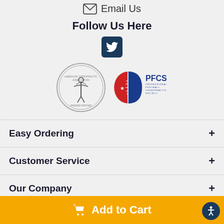Email Us
Follow Us Here
[Figure (logo): Twitter social media icon inside a dark navy rounded square]
[Figure (logo): American Chiropractic Association Premier Partner logo (circular seal) and PFCS Professional Football Chiropractic Society logo side by side]
Easy Ordering
Customer Service
Our Company
Add to Cart